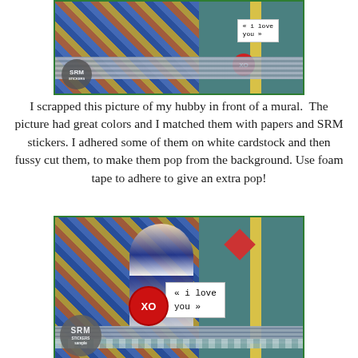[Figure (photo): Cropped scrapbook layout showing a man in front of a mural with SRM stickers including XO circle and 'i love you' tag, with decorative striped border and SRM badge watermark]
I scrapped this picture of my hubby in front of a mural.  The picture had great colors and I matched them with papers and SRM stickers. I adhered some of them on white cardstock and then fussy cut them, to make them pop from the background. Use foam tape to adhere to give an extra pop!
[Figure (photo): Full scrapbook layout showing man standing in front of colorful mural with blue and orange tones, featuring XO red circle sticker, 'i love you' typewriter-font tag, yellow ruler element, decorative wave border, and SRM badge watermark in bottom left]